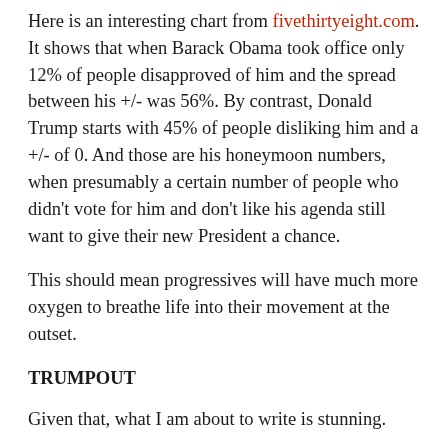Here is an interesting chart from fivethirtyeight.com. It shows that when Barack Obama took office only 12% of people disapproved of him and the spread between his +/- was 56%. By contrast, Donald Trump starts with 45% of people disliking him and a +/- of 0. And those are his honeymoon numbers, when presumably a certain number of people who didn't vote for him and don't like his agenda still want to give their new President a chance.
This should mean progressives will have much more oxygen to breathe life into their movement at the outset.
TRUMPOUT
Given that, what I am about to write is stunning.
I was struck as much by what was missing from